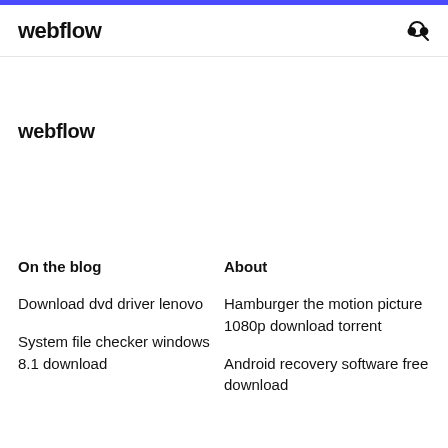webflow
webflow
On the blog
About
Download dvd driver lenovo
System file checker windows 8.1 download
Hamburger the motion picture 1080p download torrent
Android recovery software free download